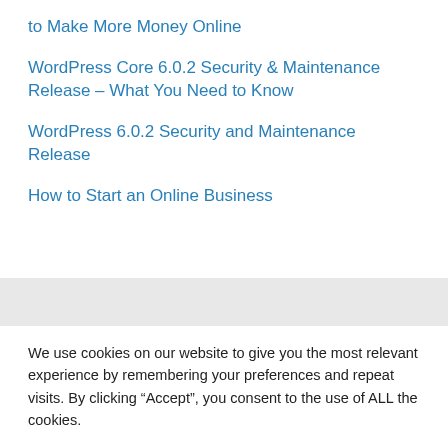to Make More Money Online
WordPress Core 6.0.2 Security & Maintenance Release – What You Need to Know
WordPress 6.0.2 Security and Maintenance Release
How to Start an Online Business
We use cookies on our website to give you the most relevant experience by remembering your preferences and repeat visits. By clicking “Accept”, you consent to the use of ALL the cookies.
Cookie settings   ACCEPT